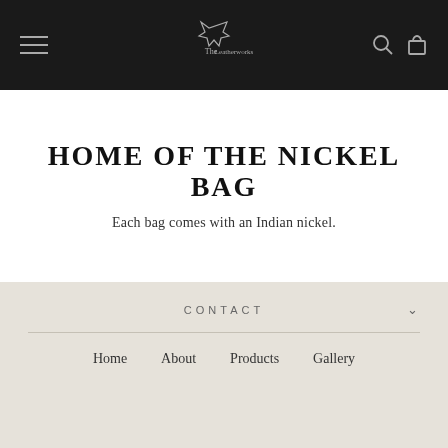The Leatherworks — navigation bar with hamburger menu, logo, search and cart icons
HOME OF THE NICKEL BAG
Each bag comes with an Indian nickel.
CONTACT
Home
About
Products
Gallery